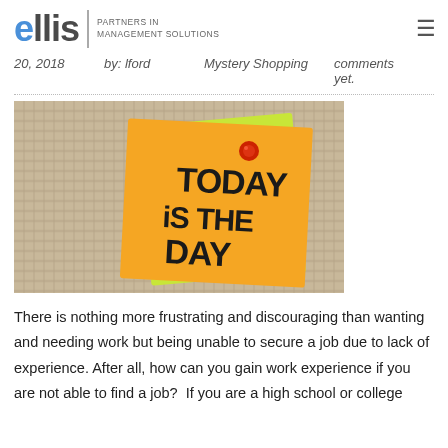ellis | PARTNERS IN MANAGEMENT SOLUTIONS
20, 2018   by: lford   Mystery Shopping   comments yet.
[Figure (photo): A sticky note on burlap fabric reading 'TODAY IS THE DAY' in large hand-written letters, pinned with a red thumbtack. A green sticky note is visible underneath the orange one.]
There is nothing more frustrating and discouraging than wanting and needing work but being unable to secure a job due to lack of experience. After all, how can you gain work experience if you are not able to find a job?  If you are a high school or college